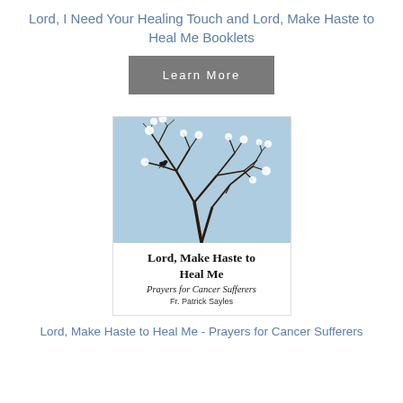Lord, I Need Your Healing Touch and Lord, Make Haste to Heal Me Booklets
Learn More
[Figure (photo): Book cover of 'Lord, Make Haste to Heal Me - Prayers for Cancer Sufferers' by Fr. Patrick Sayles, showing bare tree branches against a blue sky with white blossoms.]
Lord, Make Haste to Heal Me - Prayers for Cancer Sufferers